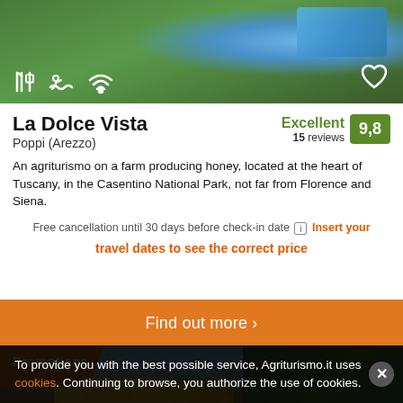[Figure (photo): Aerial/overhead view of a farm or resort property with green lawns and a pool visible in the top right, with amenity icons (restaurant, pool, wifi) and a heart/favorite icon overlaid.]
La Dolce Vista
Poppi (Arezzo)
Excellent 9,8 15 reviews
An agriturismo on a farm producing honey, located at the heart of Tuscany, in the Casentino National Park, not far from Florence and Siena.
Free cancellation until 30 days before check-in date [i] Insert your travel dates to see the correct price
Find out more >
[Figure (photo): Photo of a stone farmhouse/agriturismo building with trees in background and yellow flowers in the foreground, with an orange Promotions label overlay.]
Promotions
To provide you with the best possible service, Agriturismo.it uses cookies. Continuing to browse, you authorize the use of cookies.